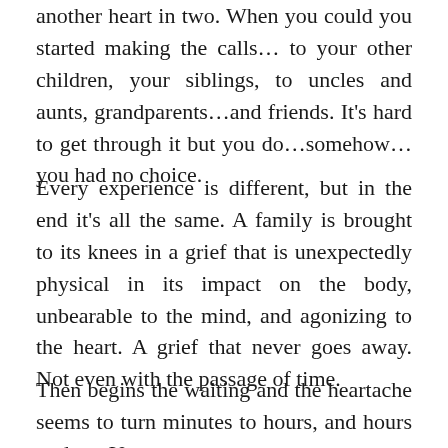another heart in two. When you could you started making the calls… to your other children, your siblings, to uncles and aunts, grandparents…and friends. It's hard to get through it but you do…somehow…you had no choice.
Every experience is different, but in the end it's all the same. A family is brought to its knees in a grief that is unexpectedly physical in its impact on the body, unbearable to the mind, and agonizing to the heart. A grief that never goes away. Not even with the passage of time.
Then begins the waiting and the heartache seems to turn minutes to hours, and hours to days. You